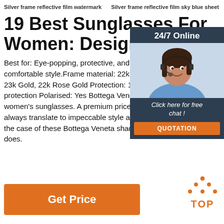Silver frame reflective film watermark    Silver frame reflective film sky blue sheet
19 Best Sunglasses For Women: Designer Sung
Best for: Eye-popping, protective, and exc comfortable style.Frame material: 22k Ch 23k Gold, 22k Rose Gold Protection: 100 protection Polarised: Yes Bottega Veneta: women's sunglasses. A premium price tag always translate to impeccable style and the case of these Bottega Veneta shades, it definitely does.
[Figure (photo): Chat widget with woman wearing headset, dark background, 24/7 Online label, Click here for free chat text, and orange QUOTATION button]
[Figure (other): Orange TOP button with upward arrow dots icon]
Get Price